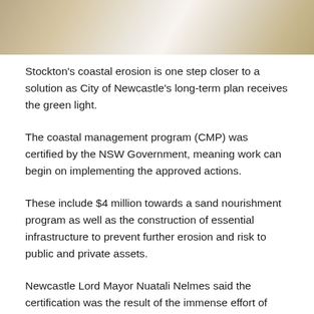[Figure (photo): Partial view of a sandy/pale surface, possibly beach or coastal sand, cropped at top of page]
Stockton's coastal erosion is one step closer to a solution as City of Newcastle's long-term plan receives the green light.
The coastal management program (CMP) was certified by the NSW Government, meaning work can begin on implementing the approved actions.
These include $4 million towards a sand nourishment program as well as the construction of essential infrastructure to prevent further erosion and risk to public and private assets.
Newcastle Lord Mayor Nuatali Nelmes said the certification was the result of the immense effort of City of Newcastle staff and the community.